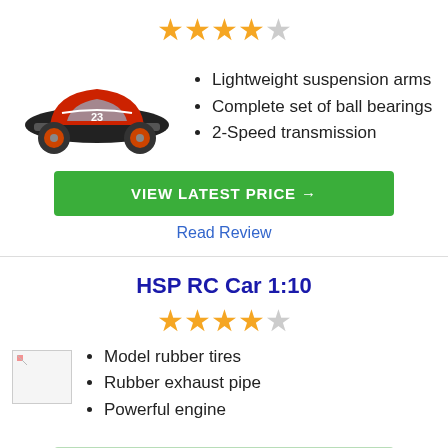[Figure (other): 4 out of 5 stars rating — 4 filled gold stars and 1 empty star]
[Figure (photo): Red and black RC truck (number 23) side view]
Lightweight suspension arms
Complete set of ball bearings
2-Speed transmission
VIEW LATEST PRICE →
Read Review
HSP RC Car 1:10
[Figure (other): 4 out of 5 stars rating — 3 filled gold stars, 1 half/filled, and 1 empty star]
[Figure (photo): Broken/missing image placeholder for HSP RC Car]
Model rubber tires
Rubber exhaust pipe
Powerful engine
VIEW LATEST PRICE →